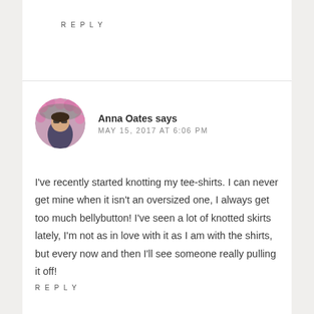REPLY
[Figure (photo): Circular avatar photo of Anna Oates, a woman with sunglasses in front of pink flowers]
Anna Oates says
MAY 15, 2017 AT 6:06 PM
I've recently started knotting my tee-shirts. I can never get mine when it isn't an oversized one, I always get too much bellybutton! I've seen a lot of knotted skirts lately, I'm not as in love with it as I am with the shirts, but every now and then I'll see someone really pulling it off!
REPLY